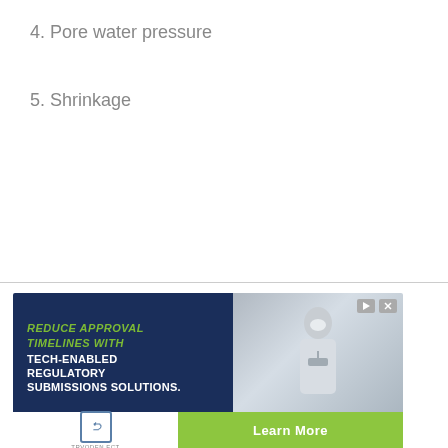4. Pore water pressure
5. Shrinkage